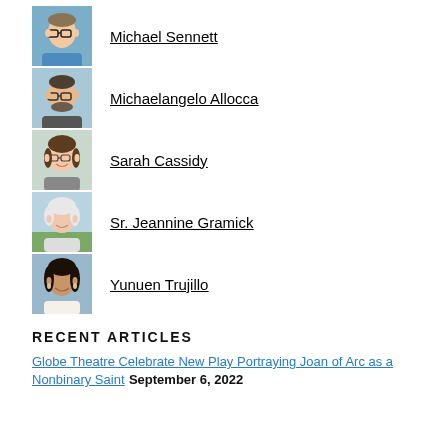[Figure (photo): Headshot of Michael Sennett, man with glasses and blue shirt]
Michael Sennett
[Figure (photo): Headshot of Michaelangelo Allocca, man with glasses and beard]
Michaelangelo Allocca
[Figure (photo): Headshot of Sarah Cassidy, woman with glasses and brown hair]
Sarah Cassidy
[Figure (photo): Headshot of Sr. Jeannine Gramick, older woman with white hair outdoors]
Sr. Jeannine Gramick
[Figure (photo): Headshot of Yunuen Trujillo, woman with dark hair smiling]
Yunuen Trujillo
RECENT ARTICLES
Globe Theatre Celebrate New Play Portraying Joan of Arc as a Nonbinary Saint September 6, 2022